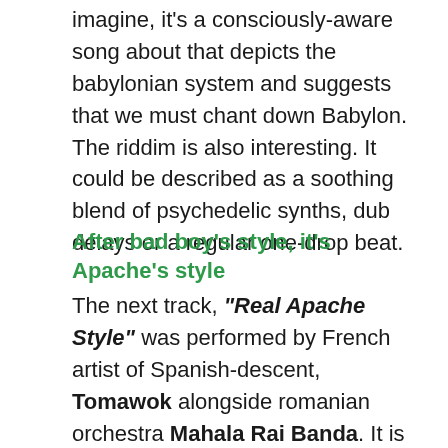imagine, it's a consciously-aware song about that depicts the babylonian system and suggests that we must chant down Babylon. The riddim is also interesting. It could be described as a soothing blend of psychedelic synths, dub delays or a regular one-drop beat.
After bad boy's style, it's Apache's style
The next track, "Real Apache Style" was performed by French artist of Spanish-descent, Tomawok alongside romanian orchestra Mahala Rai Banda. It is a very colorful Reggae/Hip Hop track with an authentic oriental vibe brought by the brass ensemble, on which the French artist delivered rhyme after rhyme